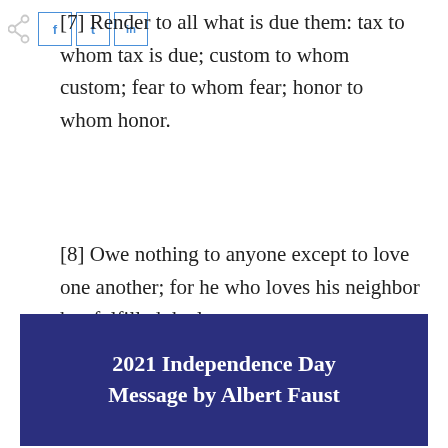[Figure (other): Social share icons: share arrow, Facebook 'f' button, Twitter 't' button, LinkedIn 'in' button]
[7] Render to all what is due them: tax to whom tax is due; custom to whom custom; fear to whom fear; honor to whom honor.
[8] Owe nothing to anyone except to love one another; for he who loves his neighbor has fulfilled the law.
2021 Independence Day Message by Albert Faust